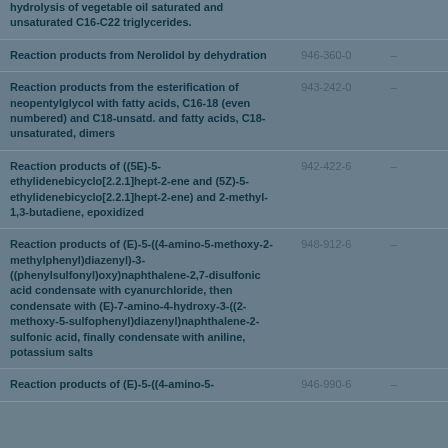| Name | EC Number | CAS Number |
| --- | --- | --- |
| hydrolysis of vegetable oil saturated and unsaturated C16-C22 triglycerides. |  |  |
| Reaction products from Nerolidol by dehydration | 946-360-0 | – |
| Reaction products from the esterification of neopentylglycol with fatty acids, C16-18 (even numbered) and C18-unsatd. and fatty acids, C18-unsaturated, dimers | 943-242-0 | – |
| Reaction products of ((5E)-5-ethylidenebicyclo[2.2.1]hept-2-ene and (5Z)-5-ethylidenebicyclo[2.2.1]hept-2-ene) and 2-methyl-1,3-butadiene, epoxidized | 942-422-6 | – |
| Reaction products of (E)-5-((4-amino-5-methoxy-2-methylphenyl)diazenyl)-3-((phenylsulfonyl)oxy)naphthalene-2,7-disulfonic acid condensate with cyanurchloride, then condensate with (E)-7-amino-4-hydroxy-3-((2-methoxy-5-sulfophenyl)diazenyl)naphthalene-2-sulfonic acid, finally condensate with aniline, potassium salts | 948-912-6 | – |
| Reaction products of (E)-5-((4-amino-5-... | 946-990-6 | – |